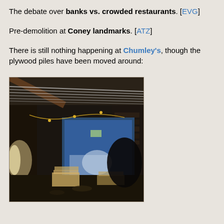The debate over banks vs. crowded restaurants. [EVG]
Pre-demolition at Coney landmarks. [ATZ]
There is still nothing happening at Chumley's, though the plywood piles have been moved around:
[Figure (photo): Interior of a demolished or under-renovation building space showing exposed ceiling beams with metal rails, a large opening covered with a blue tarp, construction debris, plywood piles, and dimly lit brick walls. A string of lights is visible near the ceiling.]